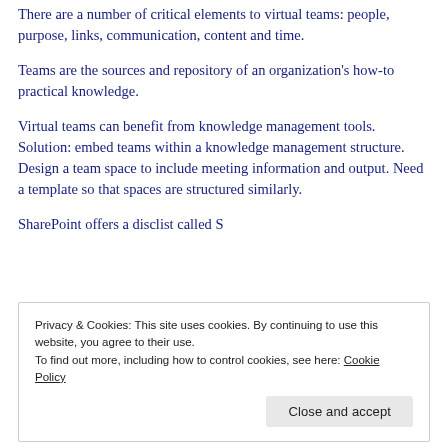There are a number of critical elements to virtual teams: people, purpose, links, communication, content and time.
Teams are the sources and repository of an organization's how-to practical knowledge.
Virtual teams can benefit from knowledge management tools. Solution: embed teams within a knowledge management structure. Design a team space to include meeting information and output. Need a template so that spaces are structured similarly.
SharePoint offers a disclist called... (partially visible)
Privacy & Cookies: This site uses cookies. By continuing to use this website, you agree to their use.
To find out more, including how to control cookies, see here: Cookie Policy